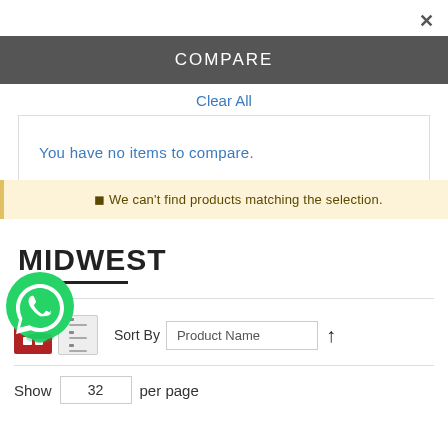×
COMPARE
Clear All
You have no items to compare.
[Figure (logo): WhatsApp green circle logo icon]
We can't find products matching the selection.
MIDWEST
Sort By  Product Name  ↑
Show  32  per page